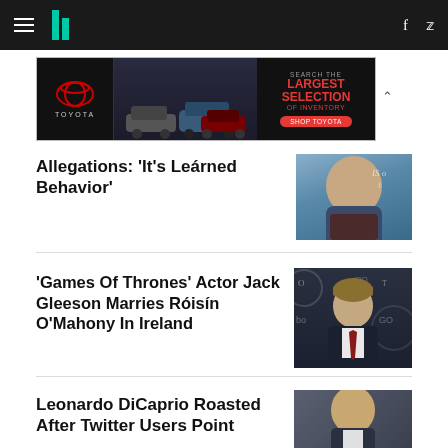HuffPost navigation bar with logo, hamburger menu, Facebook and Twitter icons
[Figure (other): Toyota advertisement banner: Search the Largest Selection of Inventory - Shop Toyota]
Allegations: ‘It’s Learned Behavior’
[Figure (photo): Photo of a man in a grey turtleneck jacket at a premiere]
'Games Of Thrones' Actor Jack Gleeson Marries Róisín O’Mahony In Ireland
[Figure (photo): Photo of Jack Gleeson in a dark suit with red tie at a Game of Thrones event]
Leonardo DiCaprio Roasted After Twitter Users Point
[Figure (photo): Photo of Leonardo DiCaprio]